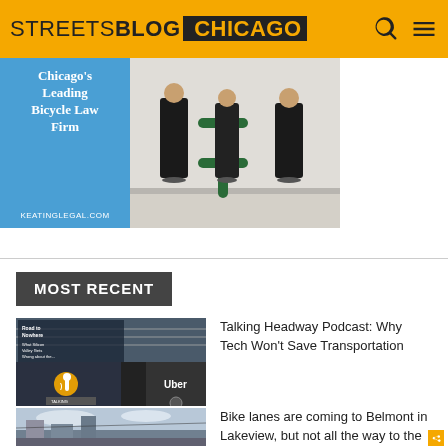STREETSBLOG CHICAGO
[Figure (illustration): Advertisement for Keating Legal - Chicago's Leading Bicycle Law Firm. Left side shows blue background with text 'Chicago's Leading Bicycle Law Firm' and 'keatinglegal.com'. Right side shows a photo of people near a green bike rack on a sidewalk.]
MOST RECENT
[Figure (photo): Thumbnail image for podcast article with overlaid text 'Road to Nowhere: What Silicon Valley Gets Wrong about the Future of Transportation' with a Talking Headway podcast icon and Uber car imagery.]
Talking Headway Podcast: Why Tech Won't Save Transportation
[Figure (photo): Thumbnail image showing a street scene in Lakeview with buildings and sky.]
Bike lanes are coming to Belmont in Lakeview, but not all the way to the lakefront